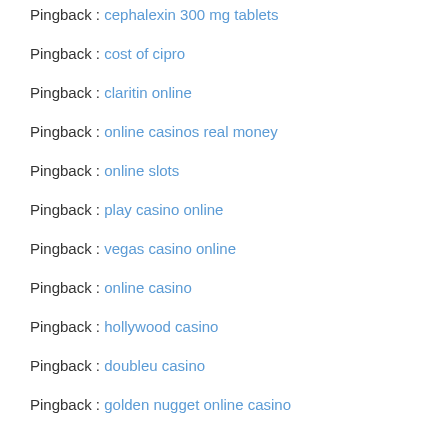Pingback : cephalexin 300 mg tablets
Pingback : cost of cipro
Pingback : claritin online
Pingback : online casinos real money
Pingback : online slots
Pingback : play casino online
Pingback : vegas casino online
Pingback : online casino
Pingback : hollywood casino
Pingback : doubleu casino
Pingback : golden nugget online casino